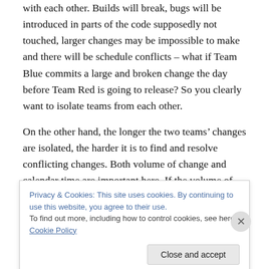with each other. Builds will break, bugs will be introduced in parts of the code supposedly not touched, larger changes may be impossible to make and there will be schedule conflicts – what if Team Blue commits a large and broken change the day before Team Red is going to release? So you clearly want to isolate teams from each other.
On the other hand, the longer the two teams' changes are isolated, the harder it is to find and resolve conflicting changes. Both volume of change and calendar time are important here. If the volume of changes made in isolation
Privacy & Cookies: This site uses cookies. By continuing to use this website, you agree to their use.
To find out more, including how to control cookies, see here: Cookie Policy